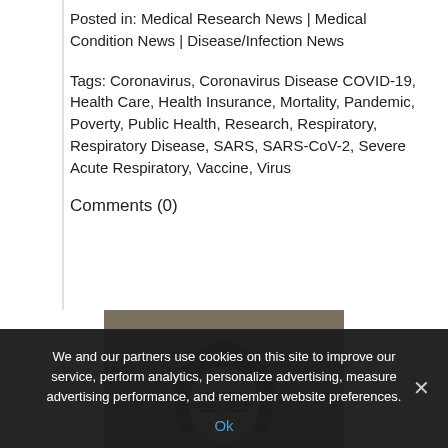Posted in: Medical Research News | Medical Condition News | Disease/Infection News
Tags: Coronavirus, Coronavirus Disease COVID-19, Health Care, Health Insurance, Mortality, Pandemic, Poverty, Public Health, Research, Respiratory, Respiratory Disease, SARS, SARS-CoV-2, Severe Acute Respiratory, Vaccine, Virus
Comments (0)
[Figure (photo): Portrait photo of a woman with glasses and dark hair, wearing a blue patterned top, photographed against a stone/textured background]
We and our partners use cookies on this site to improve our service, perform analytics, personalize advertising, measure advertising performance, and remember website preferences.
Ok